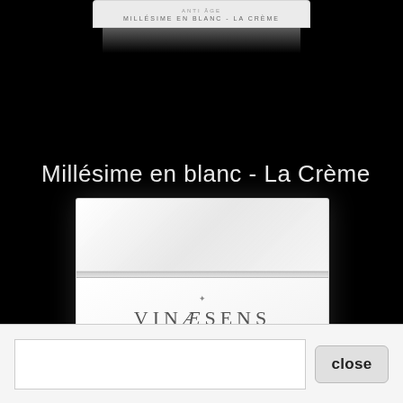[Figure (photo): Top portion of a white VINAESENS anti-age skincare jar labeled MILLÉSIME EN BLANC - LA CRÈME against a black background, partially cut off at the top with reflection below]
Millésime en blanc - La Crème
[Figure (photo): White square glass jar with lid labeled VINAESENS ANTI ÂGE - MASQUE DE LA VIGNE against a black background, with reflection below]